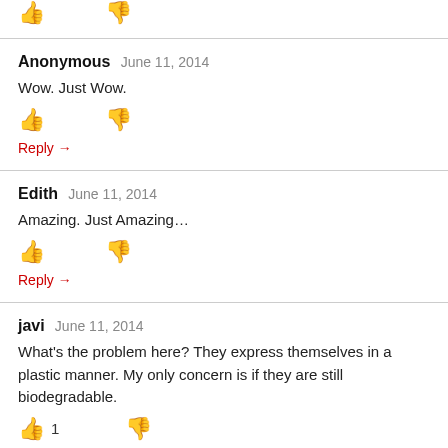[Figure (other): Thumbs up and thumbs down icons at top of page (partial, cropped)]
Anonymous June 11, 2014
Wow. Just Wow.
[Figure (other): Thumbs up and thumbs down icons for Anonymous comment]
Reply →
Edith June 11, 2014
Amazing. Just Amazing…
[Figure (other): Thumbs up and thumbs down icons for Edith comment]
Reply →
javi June 11, 2014
What's the problem here? They express themselves in a plastic manner. My only concern is if they are still biodegradable.
[Figure (other): Thumbs up icon, count 1, and thumbs down icon for javi comment]